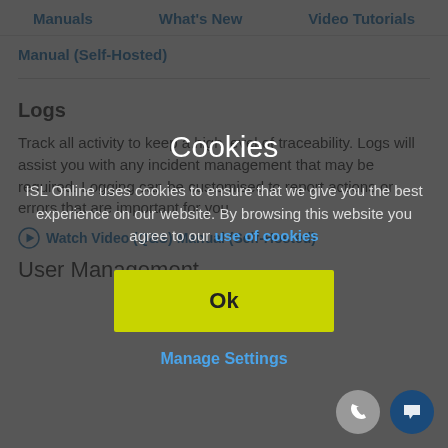Manuals   What's New   Video Tutorials
Manual (Self-Hosted)
Logs
Track all activity to keep a high level of traceability. Logs will assist you with any incident management that may be required. Logging can be customised to report actions or errors that are important for you.
[Figure (screenshot): Cookie consent modal overlay with title 'Cookies', descriptive text about ISL Online cookies, a link 'use of cookies', a yellow-green 'Ok' button, and a 'Manage Settings' link]
User Management